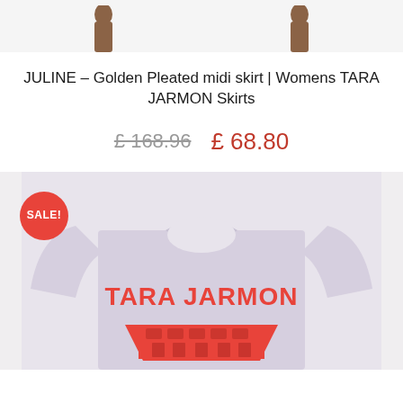[Figure (photo): Top portion of two brown boots/shoes on white background]
JULINE – Golden Pleated midi skirt | Womens TARA JARMON Skirts
£ 168.96  £ 68.80
[Figure (photo): Lavender/light purple sweatshirt with TARA JARMON logo and red building graphic, with SALE! red circular badge overlay]